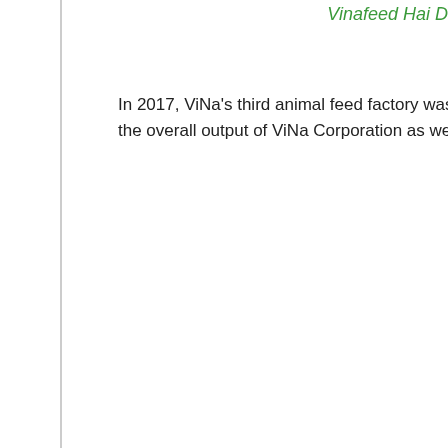Vinafeed Hai D
In 2017, ViNa's third animal feed factory was built, with a design the overall output of ViNa Corporation as well as contributing to t